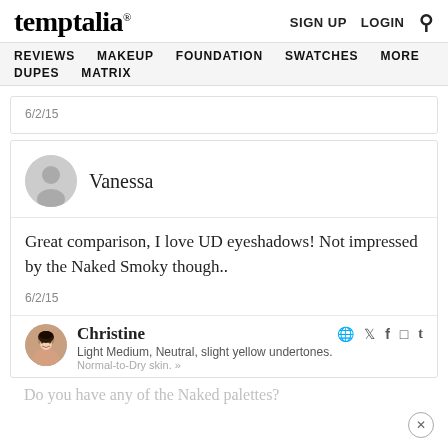temptalia® | SIGN UP  LOGIN  🔍
REVIEWS  MAKEUP  FOUNDATION  SWATCHES  MORE  DUPES  MATRIX
6/2/15
Vanessa
Great comparison, I love UD eyeshadows! Not impressed by the Naked Smoky though..
6/2/15
Christine
Light Medium, Neutral, slight yellow undertones.
Normal-to-Dry skin. »
Do you have any of the Naked palettes?